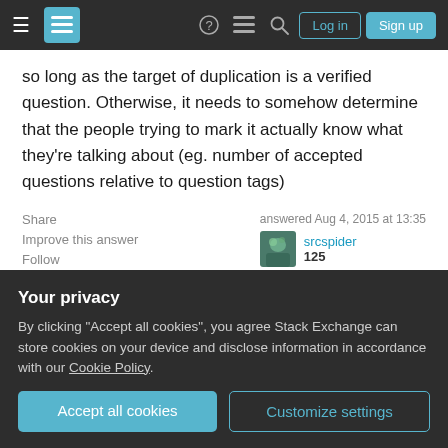Stack Exchange navigation bar with Log in and Sign up buttons
so long as the target of duplication is a verified question. Otherwise, it needs to somehow determine that the people trying to mark it actually know what they're talking about (eg. number of accepted questions relative to question tags)
Share
Improve this answer
Follow
answered Aug 4, 2015 at 13:35
srcspider
125
2   The degree of expertise needed to verify that different
Your privacy
By clicking "Accept all cookies", you agree Stack Exchange can store cookies on your device and disclose information in accordance with our Cookie Policy.
Accept all cookies
Customize settings
a similar level of expertise for all dupes.